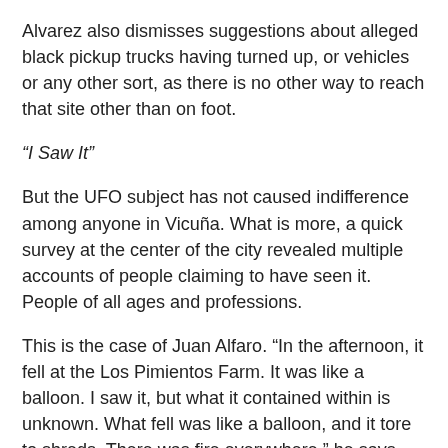Alvarez also dismisses suggestions about alleged black pickup trucks having turned up, or vehicles or any other sort, as there is no other way to reach that site other than on foot.
“I Saw It”
But the UFO subject has not caused indifference among anyone in Vicuña. What is more, a quick survey at the center of the city revealed multiple accounts of people claiming to have seen it. People of all ages and professions.
This is the case of Juan Alfaro. “In the afternoon, it fell at the Los Pimientos Farm. It was like a balloon. I saw it, but what it contained within is unknown. What fell was like a balloon, and it tore to shreds. There was fire everywhere,” he says, fully convinced.
Many others have asked about the subject in the local communications media. Carolina Collado of Radio Montecarlo in Vicuña knows it well. Many have contacted [the station] to remark upon the subject. “Many people say they saw it, they took photos of it, but nothing specific.